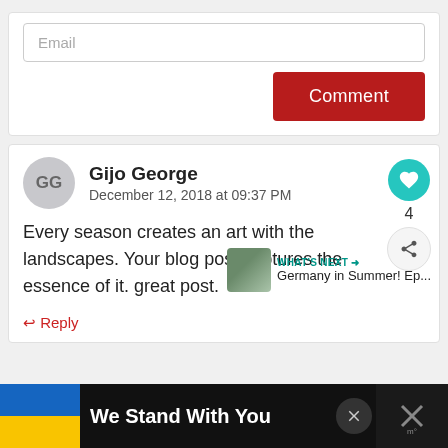[Figure (screenshot): Email input field with placeholder text 'Email' and a dark red 'Comment' button aligned to the right]
Gijo George
December 12, 2018 at 09:37 PM
Every season creates an art with the landscapes. Your blog post captures the essence of it. great post.
Reply
We Stand With You